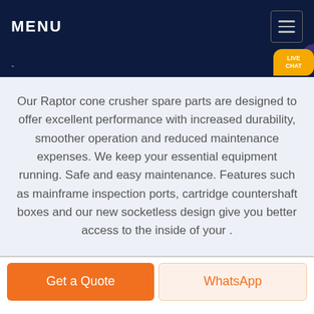MENU
Our Raptor cone crusher spare parts are designed to offer excellent performance with increased durability, smoother operation and reduced maintenance expenses. We keep your essential equipment running. Safe and easy maintenance. Features such as mainframe inspection ports, cartridge countershaft boxes and our new socketless design give you better access to the inside of your .
Get a Quote
WhatsApp